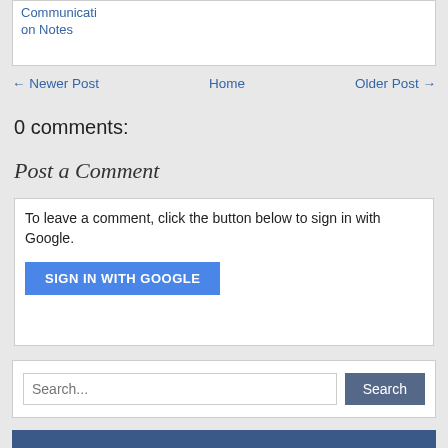Communication Notes
← Newer Post   Home   Older Post →
0 comments:
Post a Comment
To leave a comment, click the button below to sign in with Google.
SIGN IN WITH GOOGLE
Search...
Search